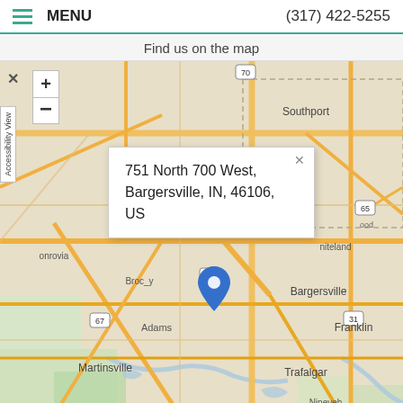MENU   (317) 422-5255
Find us on the map
[Figure (map): Street map showing Bargersville, Indiana area with a blue location pin at 751 North 700 West, Bargersville, IN, 46106, US. Map shows surrounding towns including Southport, Mooresville, Monrovia, Whiteland, Franklin, Martinsville, Trafalgar, Morgantown, Nineveh, Edinburgh, Adams. Roads and highways labeled including 37, 67, 65, 31, 70.]
751 North 700 West, Bargersville, IN, 46106, US